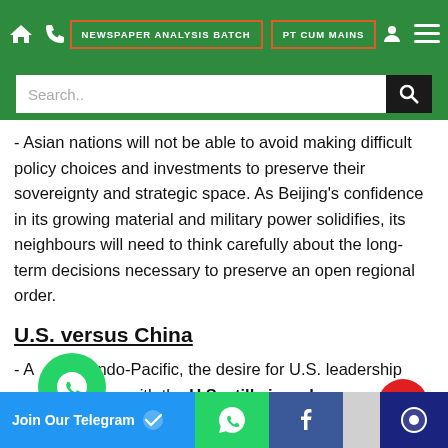NEWSPAPER ANALYSIS BATCH | PT CUM MAINS
- Asian nations will not be able to avoid making difficult policy choices and investments to preserve their sovereignty and strategic space. As Beijing's confidence in its growing material and military power solidifies, its neighbours will need to think carefully about the long-term decisions necessary to preserve an open regional order.
U.S. versus China
- Across the Indo-Pacific, the desire for U.S. leadership remains strong, with the U.S. still viewed more favourably than China, according to Pew.
Join Our Telegram